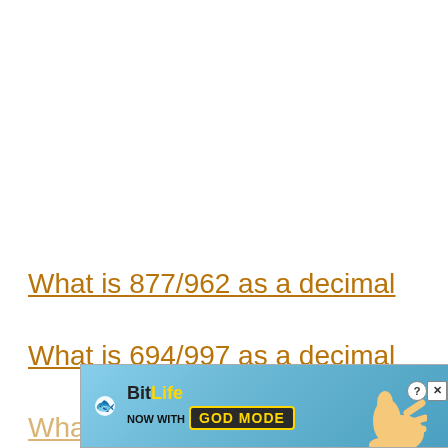What is 877/962 as a decimal
What is 694/997 as a decimal
What is 304/780 as a decimal
[Figure (other): BitLife advertisement banner with 'NOW WITH GOD MODE' text and hand illustration]